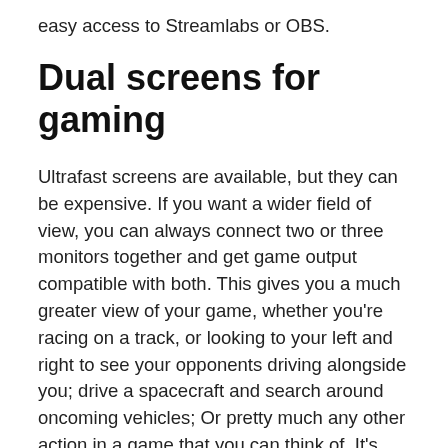easy access to Streamlabs or OBS.
Dual screens for gaming
Ultrafast screens are available, but they can be expensive. If you want a wider field of view, you can always connect two or three monitors together and get game output compatible with both. This gives you a much greater view of your game, whether you're racing on a track, or looking to your left and right to see your opponents driving alongside you; drive a spacecraft and search around oncoming vehicles; Or pretty much any other action in a game that you can think of. It's worth noting that the dual-